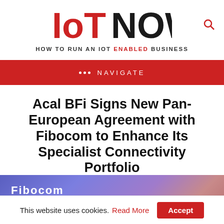[Figure (logo): IoT NOW logo with tagline 'HOW TO RUN AN IoT ENABLED BUSINESS']
••• NAVIGATE
Acal BFi Signs New Pan-European Agreement with Fibocom to Enhance Its Specialist Connectivity Portfolio
[Figure (photo): Fibocom brand banner with blue/purple gradient background showing Fibocom logo and partial Acal BFi logo]
This website uses cookies. Read More  Accept